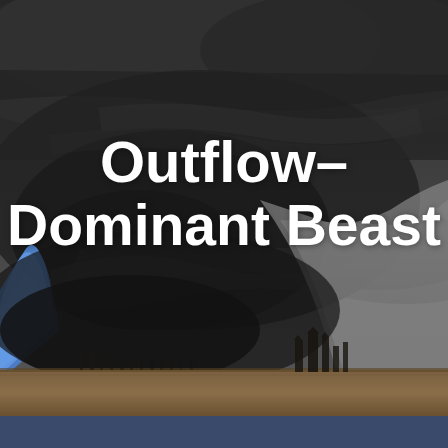[Figure (photo): A dramatic photograph of a massive outflow-dominant supercell thunderstorm. The sky is dominated by dark, turbulent storm clouds with a large rotating structure. On the left, a strip of vivid blue sky is visible beneath the storm base. The foreground shows a flat agricultural field in brown/tan tones. In the mid-ground, grain elevators and other structures are silhouetted against the storm. The lower right area shows a curtain of precipitation falling from the storm.]
Outflow-Dominant Beast